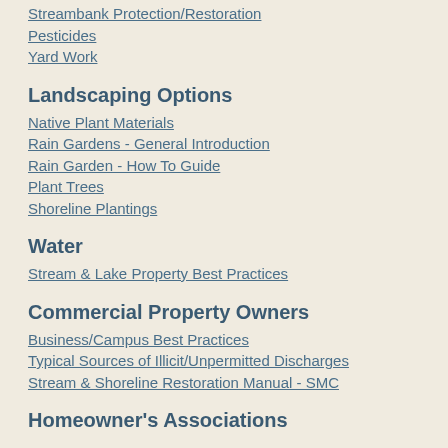Streambank Protection/Restoration
Pesticides
Yard Work
Landscaping Options
Native Plant Materials
Rain Gardens - General Introduction
Rain Garden - How To Guide
Plant Trees
Shoreline Plantings
Water
Stream & Lake Property Best Practices
Commercial Property Owners
Business/Campus Best Practices
Typical Sources of Illicit/Unpermitted Discharges
Stream & Shoreline Restoration Manual - SMC
Homeowner's Associations